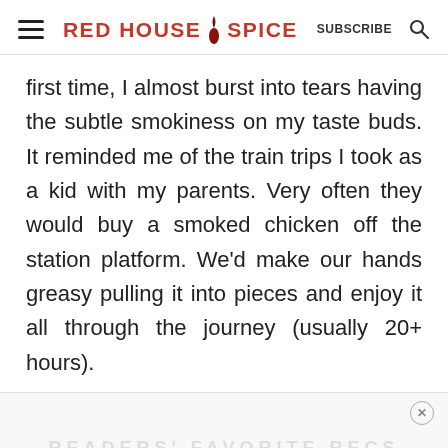RED HOUSE SPICE | SUBSCRIBE
first time, I almost burst into tears having the subtle smokiness on my taste buds. It reminded me of the train trips I took as a kid with my parents. Very often they would buy a smoked chicken off the station platform. We’d make our hands greasy pulling it into pieces and enjoy it all through the journey (usually 20+ hours).